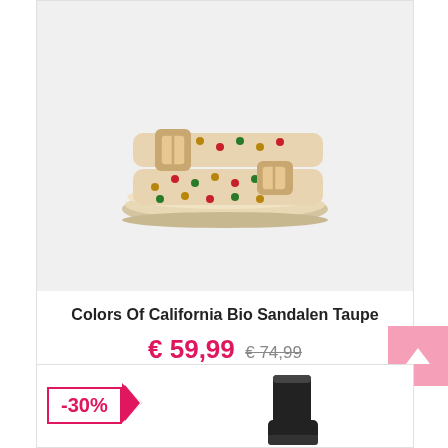[Figure (photo): A beige/taupe studded Birkenstock-style sandal with two buckle straps on a light gray background]
Colors Of California Bio Sandalen Taupe
€ 59,99 € 74,99
Naar shop 🛒 | 👁 Meer info
[Figure (other): Discount badge showing -30% with arrow shape, and partial view of a black boot product below]